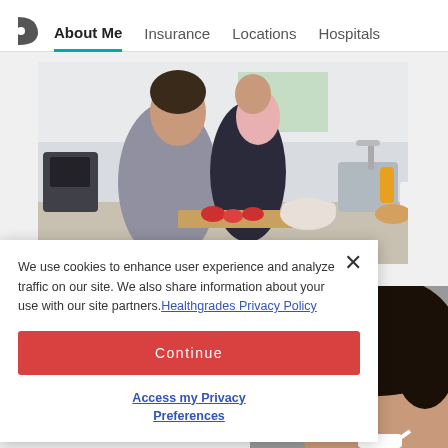About Me | Insurance | Locations | Hospitals
[Figure (photo): A woman in a grey sweater and another person in dark clothes cooking together in a bright kitchen, with a child being held, cutting strawberries on a wooden board near a kitchen sink. A coffee maker, bowl, and croissants are visible.]
We use cookies to enhance user experience and analyze traffic on our site. We also share information about your use with our site partners. Healthgrades Privacy Policy
Continue
Access my Privacy Preferences
[Figure (photo): Partial photo of a smiling person with curly dark hair, bottom right of the page.]